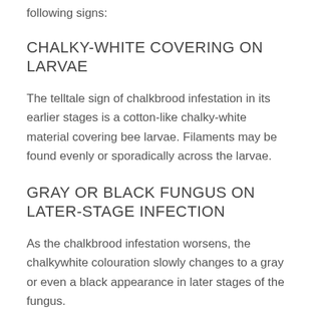following signs:
CHALKY-WHITE COVERING ON LARVAE
The telltale sign of chalkbrood infestation in its earlier stages is a cotton-like chalky-white material covering bee larvae. Filaments may be found evenly or sporadically across the larvae.
GRAY OR BLACK FUNGUS ON LATER-STAGE INFECTION
As the chalkbrood infestation worsens, the chalkywhite colouration slowly changes to a gray or even a black appearance in later stages of the fungus.